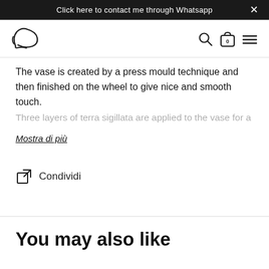Click here to contact me through Whatsapp  ×
[Figure (logo): Stylized cursive letter D logo, top-left navigation]
The vase is created by a press mould technique and then finished on the wheel to give nice and smooth touch.
Three layers of terra sigillata are applied to the vase for a
Mostra di più
Condividi
You may also like